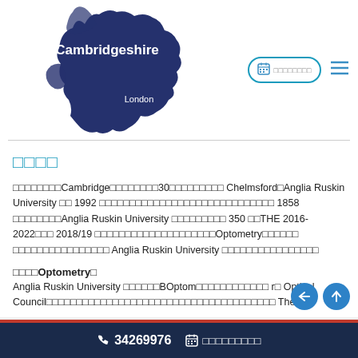[Figure (map): Map of England with Cambridgeshire highlighted in dark navy blue, with text 'Cambridgeshire' and 'London' labeled. Navigation icons (calendar/schedule button and hamburger menu) at top right.]
□□□□
□□□□□□□□Cambridge□□□□□□□□30□□□□□□□□□ Chelmsford□Anglia Ruskin University □□ 1992 □□□□□□□□□□□□□□□□□□□□□□□□□□□□□ 1858 □□□□□□□□Anglia Ruskin University □□□□□□□□□ 350 □□THE 2016-2022□□□ 2018/19 □□□□□□□□□□□□□□□□□□□□Optometry□□□□□□ □□□□□□□□□□□□□□□□ Anglia Ruskin University □□□□□□□□□□□□□□□□
□□□□Optometry□
Anglia Ruskin University □□□□□□BOptom□□□□□□□□□□□□ r□ Optical Council□□□□□□□□□□□□□□□□□□□□□□□□□□□□□□□□□□□□□□ The
📞 34269976  📅 □□□□□□□□□